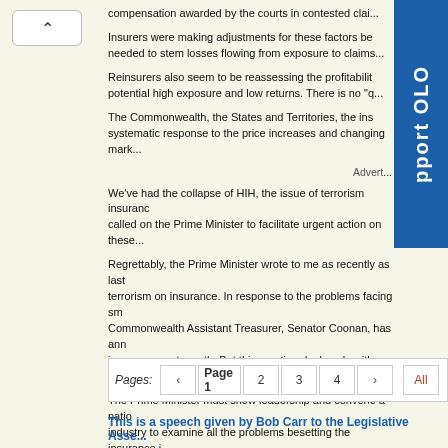compensation awarded by the courts in contested clai...
Insurers were making adjustments for these factors be... needed to stem losses flowing from exposure to claims...
Reinsurers also seem to be reassessing the profitabilit... potential high exposure and low returns. There is no "q...
The Commonwealth, the States and Territories, the ins... systematic response to the price increases and changing mark...
Advert...
We've had the collapse of HIH, the issue of terrorism insuranc... called on the Prime Minister to facilitate urgent action on these...
Regrettably, the Prime Minister wrote to me as recently as last... terrorism on insurance. In response to the problems facing sm... Commonwealth Assistant Treasurer, Senator Coonan, has ann... insurance next month. But this meeting deals only with public...
The Prime Minister must show leadership and convene a natio... industry to examine all the problems besetting the insurance i...
Pages: ‹ Page 1 2 3 4 › All
This is a speech given by Bob Carr to the Legislative Asse...